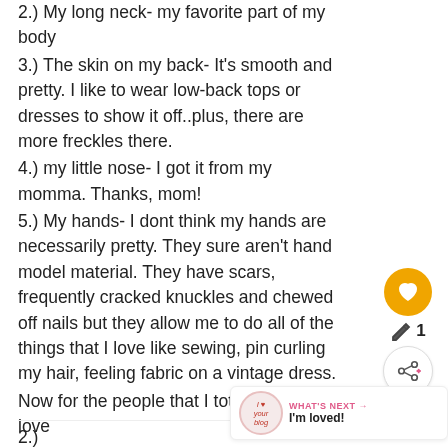2.) My long neck- my favorite part of my body
3.) The skin on my back- It's smooth and pretty. I like to wear low-back tops or dresses to show it off..plus, there are more freckles there.
4.) my little nose- I got it from my momma. Thanks, mom!
5.) My hands- I dont think my hands are necessarily pretty. They sure aren't hand model material. They have scars, frequently cracked knuckles and chewed off nails but they allow me to do all of the things that I love like sewing, pin curling my hair, feeling fabric on a vintage dress.
Now for the people that I totally envy and love
1.)Charlotte from Tuppence Ha'Penny has great legs! Looks fabulous in a swimsuit!
2.)